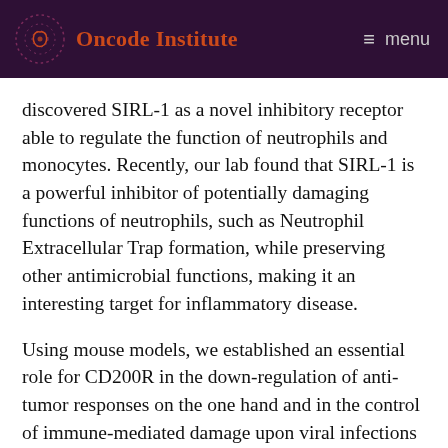Oncode Institute  menu
discovered SIRL-1 as a novel inhibitory receptor able to regulate the function of neutrophils and monocytes. Recently, our lab found that SIRL-1 is a powerful inhibitor of potentially damaging functions of neutrophils, such as Neutrophil Extracellular Trap formation, while preserving other antimicrobial functions, making it an interesting target for inflammatory disease.
Using mouse models, we established an essential role for CD200R in the down-regulation of anti-tumor responses on the one hand and in the control of immune-mediated damage upon viral infections on the other hand. Furthermore, a